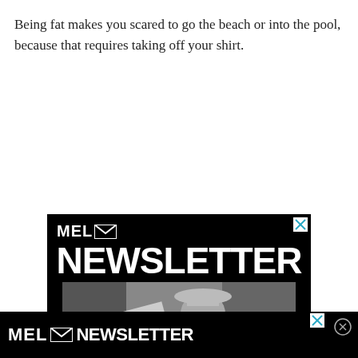Being fat makes you scared to go the beach or into the pool, because that requires taking off your shirt.
[Figure (advertisement): MEL Newsletter advertisement with black background, large white 'NEWSLETTER' text, a black-and-white cowboy photo in the middle, and 'SIGN UP NOW' text at the bottom.]
[Figure (advertisement): MEL Newsletter advertisement bar at the bottom of the page with black background and white logo text.]
I us... is a kid...